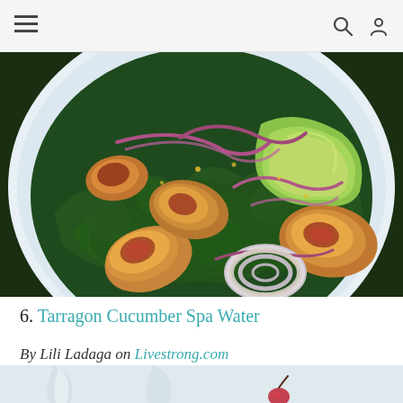☰  🔍  👤
[Figure (photo): A white plate with a kale salad topped with sliced figs, avocado wedges, red onion rings, and other vegetables shot from above]
6. Tarragon Cucumber Spa Water
By Lili Ladaga on Livestrong.com
[Figure (photo): Bottom portion of another food/drink photo showing glass cups and a red garnish on a light background]